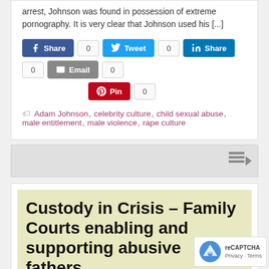arrest, Johnson was found in possession of extreme pornography. It is very clear that Johnson used his [...]
Share 0  Tweet 0  Share 0  Email 0  Pin 0
Adam Johnson, celebrity culture, child sexual abuse, male entitlement, male violence, rape culture
Custody in Crisis – Family Courts enabling and supporting abusive fathers.
December 13, 2016,  Admin  EVB Analysis,
Salon has published a searing indictment of the family courts in the US investigating the frequency with which violent fathers are given...